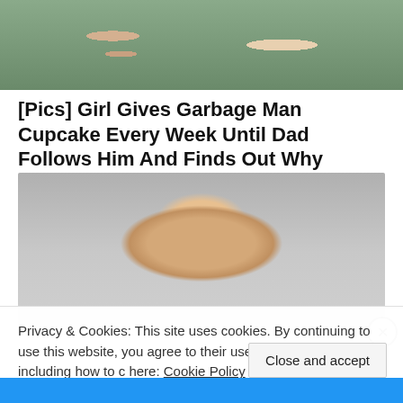[Figure (photo): Top portion of a photo showing two people (partial faces, green background), cropped at top of page]
[Pics] Girl Gives Garbage Man Cupcake Every Week Until Dad Follows Him And Finds Out Why
HealthyGem
[Figure (photo): Photo of a bald older man looking at camera, slightly blurred/faded]
Privacy & Cookies: This site uses cookies. By continuing to use this website, you agree to their use. To find out more, including how to c here: Cookie Policy
Close and accept